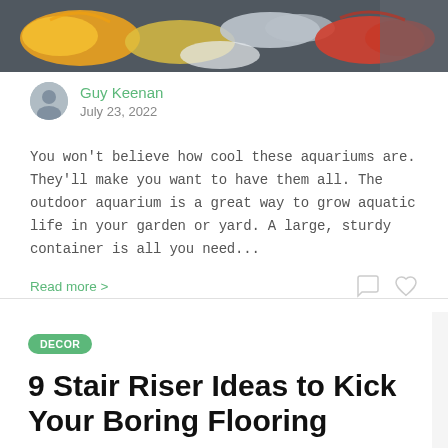[Figure (photo): Colorful fish including orange, red, and grey fish visible near the water surface in an outdoor aquarium setting]
Guy Keenan
July 23, 2022
You won't believe how cool these aquariums are. They'll make you want to have them all. The outdoor aquarium is a great way to grow aquatic life in your garden or yard. A large, sturdy container is all you need...
Read more >
DECOR
9 Stair Riser Ideas to Kick Your Boring Flooring